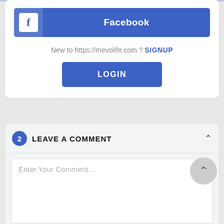[Figure (screenshot): Facebook login button with blue background and Facebook logo icon on the left]
New to https://mevolife.com ? SIGNUP
LOGIN
2  LEAVE A COMMENT
Enter Your Comment...